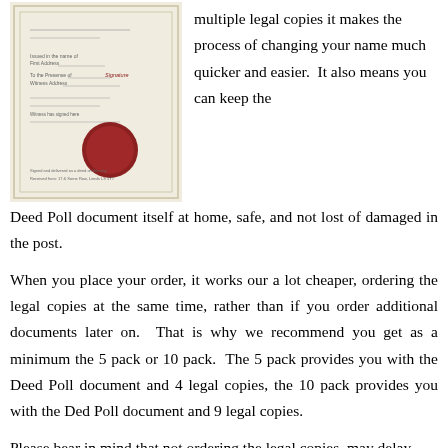[Figure (photo): A Deed Poll document with a red wax seal, shown on a cream/yellow background with a decorative border]
multiple legal copies it makes the process of changing your name much quicker and easier.  It also means you can keep the Deed Poll document itself at home, safe, and not lost of damaged in the post.
When you place your order, it works our a lot cheaper, ordering the legal copies at the same time, rather than if you order additional documents later on.  That is why we recommend you get as a minimum the 5 pack or 10 pack.  The 5 pack provides you with the Deed Poll document and 4 legal copies, the 10 pack provides you with the Ded Poll document and 9 legal copies.
Please bear in mind that not ordering the legal copies, may delay